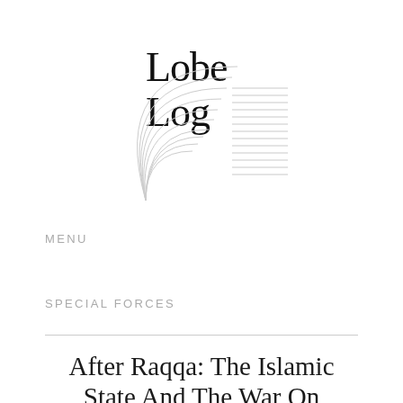[Figure (logo): LobLog logo with stylized text 'Lobe Log' in large serif font, accompanied by decorative arc lines on the left and horizontal lines on the right forming a circular/rectangular design]
MENU
SPECIAL FORCES
After Raqqa: The Islamic State And The War On